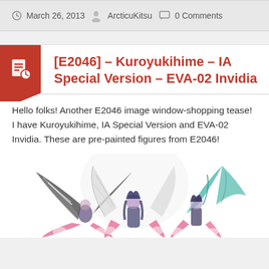March 26, 2013  ArcticuKitsu  0 Comments
[E2046] – Kuroyukihime – IA Special Version – EVA-02 Invidia
Hello folks! Another E2046 image window-shopping tease! I have Kuroyukihime, IA Special Version and EVA-02 Invidia. These are pre-painted figures from E2046!
[Figure (photo): Photo showing anime figurines with butterfly/fairy wings — Kuroyukihime, IA Special Version, and EVA-02 Invidia pre-painted figures from E2046. The figures have colorful butterfly wings in pink, teal, and white/gray tones against a white background.]